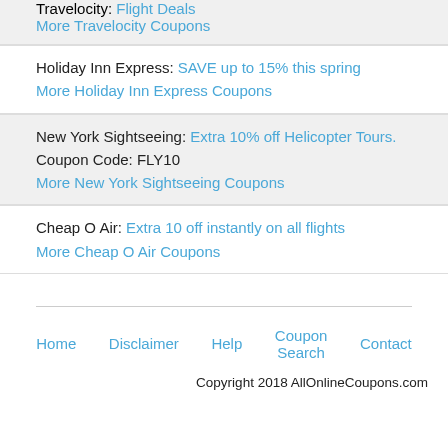Travelocity: Flight Deals
More Travelocity Coupons
Holiday Inn Express: SAVE up to 15% this spring
More Holiday Inn Express Coupons
New York Sightseeing: Extra 10% off Helicopter Tours. Coupon Code: FLY10
More New York Sightseeing Coupons
Cheap O Air: Extra 10 off instantly on all flights
More Cheap O Air Coupons
Home   Disclaimer   Help   Coupon Search   Contact
Copyright 2018 AllOnlineCoupons.com